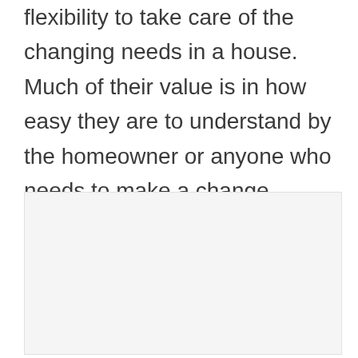flexibility to take care of the changing needs in a house. Much of their value is in how easy they are to understand by the homeowner or anyone who needs to make a change.
[Figure (other): A large light gray rectangular placeholder image area with a pale background and thin border.]